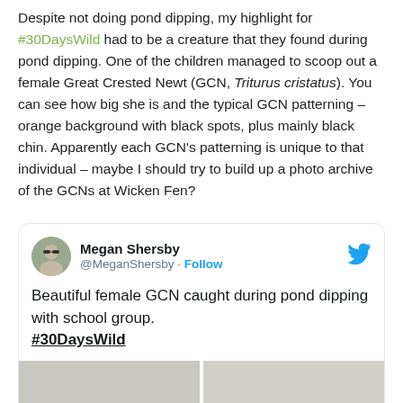Despite not doing pond dipping, my highlight for #30DaysWild had to be a creature that they found during pond dipping. One of the children managed to scoop out a female Great Crested Newt (GCN, Triturus cristatus). You can see how big she is and the typical GCN patterning – orange background with black spots, plus mainly black chin. Apparently each GCN's patterning is unique to that individual – maybe I should try to build up a photo archive of the GCNs at Wicken Fen?
[Figure (screenshot): Embedded tweet from Megan Shersby (@MeganShersby) with Twitter bird icon. Text reads: 'Beautiful female GCN caught during pond dipping with school group. #30DaysWild'. Below is a partial image strip showing two greyscale photos.]